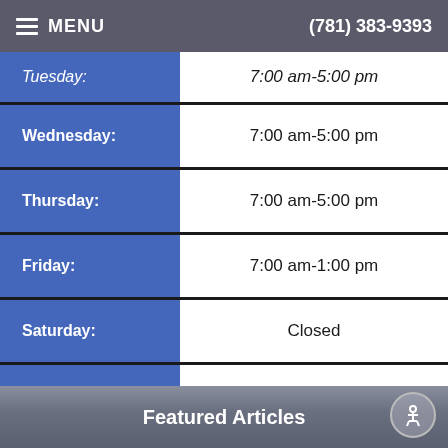MENU  (781) 383-9393
| Day | Hours |
| --- | --- |
| Tuesday: | 7:00 am-5:00 pm |
| Wednesday: | 7:00 am-5:00 pm |
| Thursday: | 7:00 am-5:00 pm |
| Friday: | 7:00 am-1:00 pm |
| Saturday: | Closed |
| Sunday: | Closed |
Featured Articles